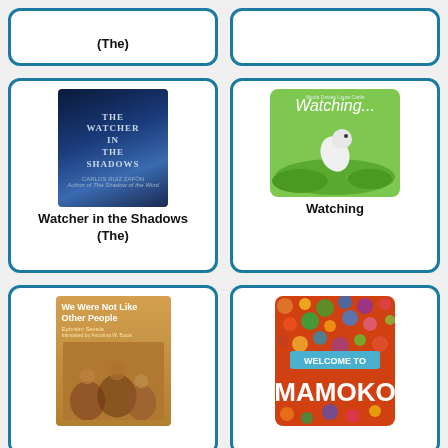[Figure (illustration): Partial book listing card showing only the title text '(The)' at top — book cover image cut off above]
(The)
[Figure (illustration): Partial second card with book cover cut off at top — right column]
[Figure (illustration): Book cover of 'The Watcher in the Shadows' by Carlos Ruiz Zafon — dark blue atmospheric cover with gothic arch and lighthouse silhouette]
Watcher in the Shadows (The)
[Figure (illustration): Book cover of 'Watching...' — green cover with illustrated white frog on mossy ground]
Watching
[Figure (illustration): Book cover of 'We Were Not Like Other People' by Ephraim Sevela — illustrated cover with group of people]
[Figure (illustration): Book cover of 'Welcome to Mamoko' — colorful illustrated city scene with sign reading WELCOME TO MAMOKO]